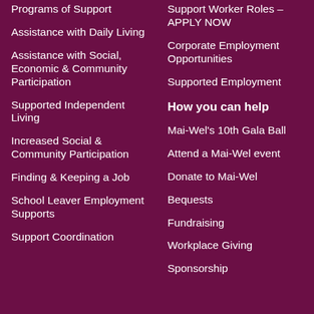Programs of Support
Assistance with Daily Living
Assistance with Social, Economic & Community Participation
Supported Independent Living
Increased Social & Community Participation
Finding & Keeping a Job
School Leaver Employment Supports
Support Worker Roles – APPLY NOW
Corporate Employment Opportunities
Supported Employment
How you can help
Mai-Wel's 10th Gala Ball
Attend a Mai-Wel event
Donate to Mai-Wel
Bequests
Fundraising
Workplace Giving